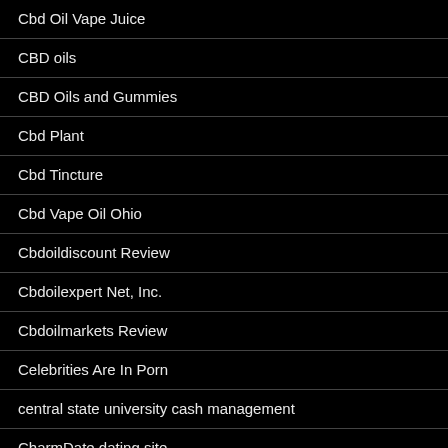Cbd Oil Vape Juice
CBD oils
CBD Oils and Gummies
Cbd Plant
Cbd Tincture
Cbd Vape Oil Ohio
Cbdoildiscount Review
Cbdoilexpert Net, Inc.
Cbdoilmarkets Review
Celebrities Are In Porn
central state university cash management
CharmDate dating site
charmdate login